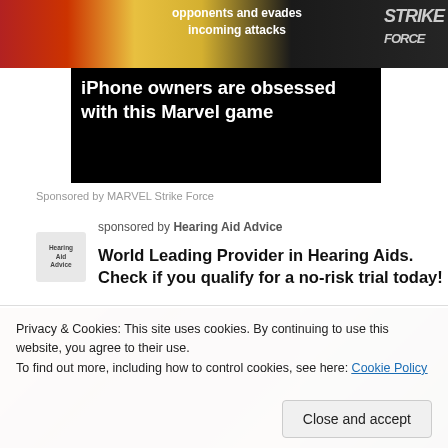[Figure (screenshot): Advertisement banner for MARVEL Strike Force game showing game imagery with text 'opponents and evades incoming attacks' on yellow background with dark sides]
[Figure (screenshot): Dark overlay caption box on game screenshot with white text: iPhone owners are obsessed with this Marvel game]
Sponsored by MARVEL Strike Force
sponsored by Hearing Aid Advice
World Leading Provider in Hearing Aids. Check if you qualify for a no-risk trial today!
[Figure (photo): Two photos side by side showing close-up skin/ear tones, partially visible]
Privacy & Cookies: This site uses cookies. By continuing to use this website, you agree to their use.
To find out more, including how to control cookies, see here: Cookie Policy
Close and accept